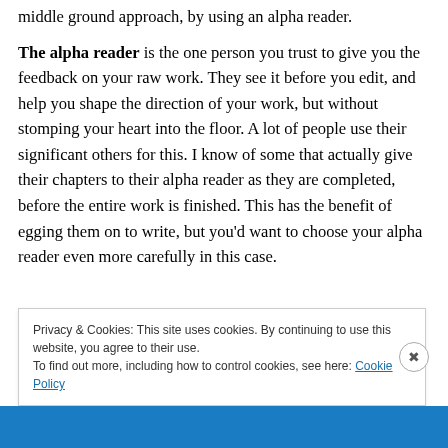things to offer. But I have writing friends who actually use a middle ground approach, by using an alpha reader.
The alpha reader is the one person you trust to give you the feedback on your raw work. They see it before you edit, and help you shape the direction of your work, but without stomping your heart into the floor. A lot of people use their significant others for this. I know of some that actually give their chapters to their alpha reader as they are completed, before the entire work is finished. This has the benefit of egging them on to write, but you'd want to choose your alpha reader even more carefully in this case.
Privacy & Cookies: This site uses cookies. By continuing to use this website, you agree to their use.
To find out more, including how to control cookies, see here: Cookie Policy
Close and accept